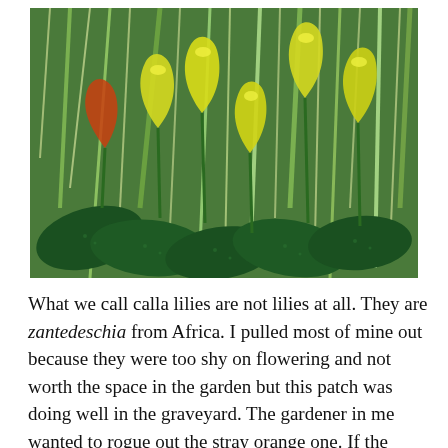[Figure (photo): A cluster of yellow calla lily flowers (zantedeschia) with one orange/red flower on the left, growing among dark green spotted leaves and tall grass-like foliage in the background.]
What we call calla lilies are not lilies at all. They are zantedeschia from Africa. I pulled most of mine out because they were too shy on flowering and not worth the space in the garden but this patch was doing well in the graveyard. The gardener in me wanted to rogue out the stray orange one. If the flowers look familiar, it is because they are the same family as the common arum which is a